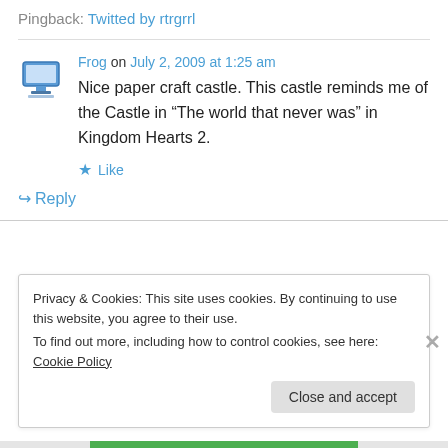Pingback: Twitted by rtrgrrl
[Figure (illustration): User avatar: computer/monitor icon in blue]
Frog on July 2, 2009 at 1:25 am
Nice paper craft castle. This castle reminds me of the Castle in “The world that never was” in Kingdom Hearts 2.
★ Like
↪ Reply
Privacy & Cookies: This site uses cookies. By continuing to use this website, you agree to their use.
To find out more, including how to control cookies, see here: Cookie Policy
Close and accept